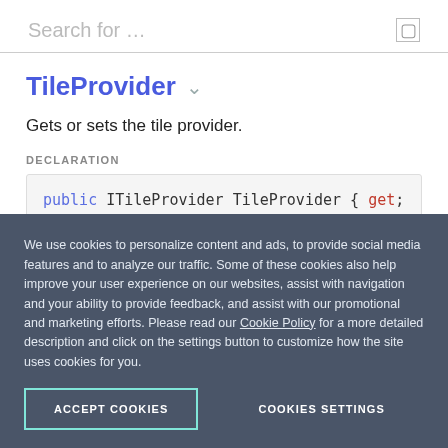Search for …
TileProvider
Gets or sets the tile provider.
DECLARATION
public ITileProvider TileProvider { get; set; }
We use cookies to personalize content and ads, to provide social media features and to analyze our traffic. Some of these cookies also help improve your user experience on our websites, assist with navigation and your ability to provide feedback, and assist with our promotional and marketing efforts. Please read our Cookie Policy for a more detailed description and click on the settings button to customize how the site uses cookies for you.
ACCEPT COOKIES
COOKIES SETTINGS